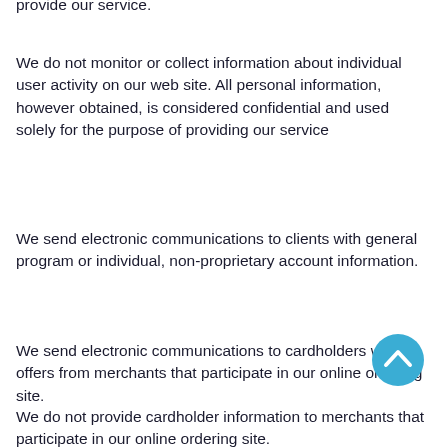provide our service.
We do not monitor or collect information about individual user activity on our web site. All personal information, however obtained, is considered confidential and used solely for the purpose of providing our service
We send electronic communications to clients with general program or individual, non-proprietary account information.
We send electronic communications to cardholders with offers from merchants that participate in our online ordering site.
We do not provide cardholder information to merchants that participate in our online ordering site.